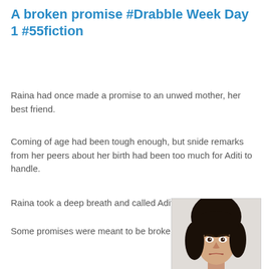A broken promise #Drabble Week Day 1 #55fiction
Raina had once made a promise to an unwed mother, her best friend.
Coming of age had been tough enough, but snide remarks from her peers about her birth had been too much for Aditi to handle.
Raina took a deep breath and called Aditi to her side.
Some promises were meant to be broken.
[Figure (photo): Portrait photo of a young woman with dark hair, looking at the camera, partially cropped at bottom of page.]